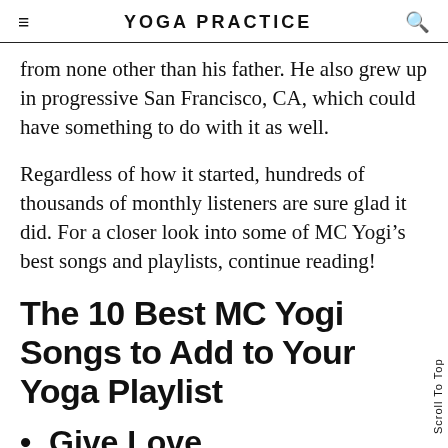YOGA PRACTICE
from none other than his father. He also grew up in progressive San Francisco, CA, which could have something to do with it as well.
Regardless of how it started, hundreds of thousands of monthly listeners are sure glad it did. For a closer look into some of MC Yogi’s best songs and playlists, continue reading!
The 10 Best MC Yogi Songs to Add to Your Yoga Playlist
Give Love